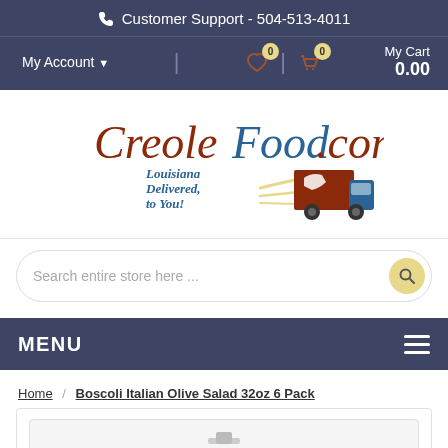Customer Support - 504-513-4011
My Account | My Cart 0.00
[Figure (logo): CreoleFood.com logo with delivery truck and text 'Louisiana Delivered, to You!']
Search entire store here ...
MENU
Home / Boscoli Italian Olive Salad 32oz 6 Pack
[Figure (photo): Product image area for Boscoli Italian Olive Salad 32oz 6 Pack]